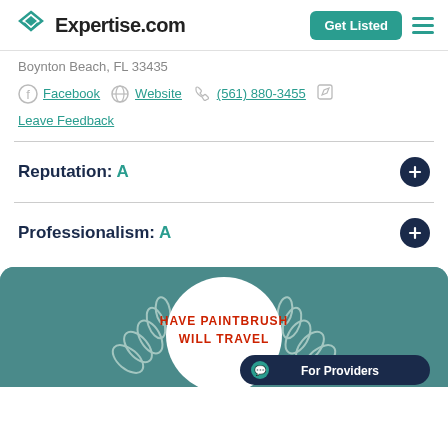Expertise.com
Boynton Beach, FL 33435
Facebook   Website   (561) 880-3455
Leave Feedback
Reputation: A
Professionalism: A
[Figure (logo): Have Paintbrush Will Travel award badge on teal background with laurel wreath and 'For Providers' button]